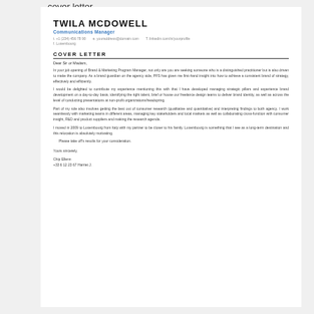cover letter.
TWILA MCDOWELL
Communications Manager
t. +1 (234) 456 78 90  e. youraddress@domain.com  T. linkedin.com/in/yourprofile
f. Luxembourg
COVER LETTER
Dear Sir or Madam,
In your job opening of Brand & Marketing Program Manager, not only are you are seeking someone who is a distinguished practitioner but is also driven to make the company. As a brand guardian on the agency side, PFS has given me first-hand insight into how to achieve a consistent brand of strategy, effectively and efficiently.
I would be delighted to contribute my experience mentioning this with that I have developed managing strategic pillars and experience brand development on a day-to-day basis, identifying the right talent, brief or house our freelance design teams to deliver brand identity, as well as across the level of conducting presentations at non-profit organizations/headspring.
Part of my role also involves getting the best out of consumer research (qualitative and quantitative) and interpreting findings to both agency. I work seamlessly with marketing teams in different areas, managing key stakeholders and local markets as well as collaborating cross-function with consumer insight, R&D and product suppliers and making the research agenda.
I moved in 2009 to Luxembourg from Italy with my partner to be closer to his family. Luxembourg is something that I see as a long-term destination and this relocation is absolutely motivating.
Please take off's results for your consideration.
Yours sincerely,
Chip Ellenn
+33 6 12 23 67 Harriet J.